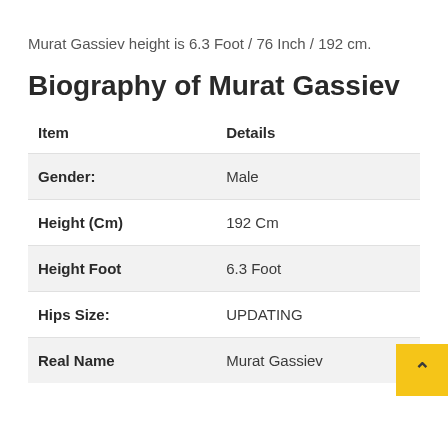Murat Gassiev height is 6.3 Foot / 76 Inch / 192 cm.
Biography of Murat Gassiev
| Item | Details |
| --- | --- |
| Gender: | Male |
| Height (Cm) | 192 Cm |
| Height Foot | 6.3 Foot |
| Hips Size: | UPDATING |
| Real Name | Murat Gassiev |